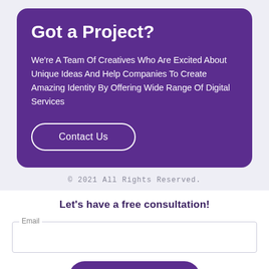Got a Project?
We're A Team Of Creatives Who Are Excited About Unique Ideas And Help Companies To Create Amazing Identity By Offering Wide Range Of Digital Services
Contact Us
© 2021 All Rights Reserved.
Let's have a free consultation!
Email
Subscribe